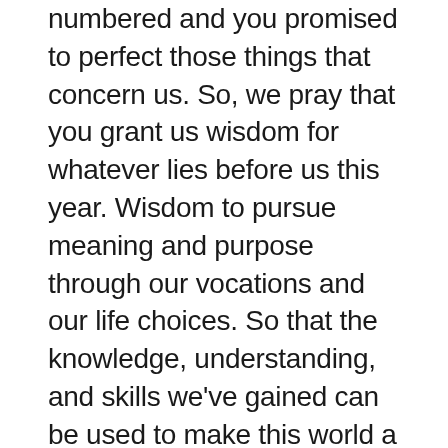numbered and you promised to perfect those things that concern us. So, we pray that you grant us wisdom for whatever lies before us this year. Wisdom to pursue meaning and purpose through our vocations and our life choices. So that the knowledge, understanding, and skills we've gained can be used to make this world a better place and to glorify you. Wisdom to know when to ask questions and not to allow fear, pride and insecurities hinder us from receiving the clarifications we need. Wisdom to know when our souls are parched and in need of refreshing. Help us to be attuned to the Holy Spirits beckoning and to our need to